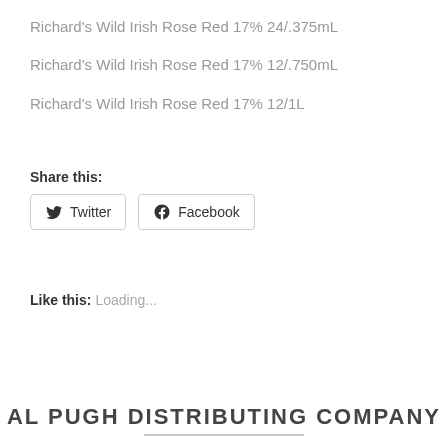Richard's Wild Irish Rose Red 17% 24/.375mL
Richard's Wild Irish Rose Red 17% 12/.750mL
Richard's Wild Irish Rose Red 17% 12/1L
Share this:
Twitter
Facebook
Like this:
Loading...
AL PUGH DISTRIBUTING COMPANY